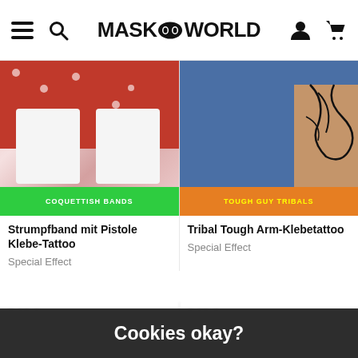MASK WORLD
[Figure (photo): Product image: Strumpfband mit Pistole Klebe-Tattoo — woman's legs with garter belt and coquettish bands tattoo in red polka dot dress]
Strumpfband mit Pistole Klebe-Tattoo
Special Effect
[Figure (photo): Product image: Tribal Tough Arm-Klebetattoo — man with tribal arm tattoo in denim vest]
Tribal Tough Arm-Klebetattoo
Special Effect
Cookies okay?
Wir benötigen gemeinsam mit unseren Partnern die Zustimmung (Klick auf "OK") für einzelne Datennutzungen, um Informationen zu speichern, abzurufen (z.B. Browser-Informationen, Nutzer-ID, IP-Adresse) und zu verarbeiten oder verarbeiten zu lassen. Die Datennutzung erfolgt für
OK